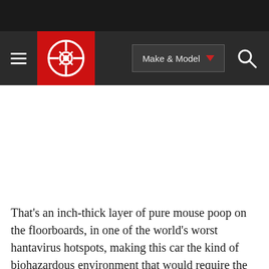[Figure (screenshot): Dark navigation bar with hamburger menu, red car logo, Make & Model dropdown button, and search icon]
That's an inch-thick layer of pure mouse poop on the floorboards, in one of the world's worst hantavirus hotspots, making this car the kind of biohazardous environment that would require the restorer to wear a